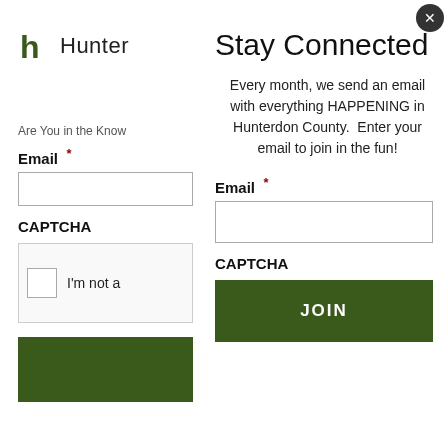[Figure (logo): Hunter logo: green stylized h icon followed by text 'Hunter']
Stay Connected
Every month, we send an email with everything HAPPENING in Hunterdon County.  Enter your email to join in the fun!
Are You in the Know
Email *
Email *
CAPTCHA
CAPTCHA